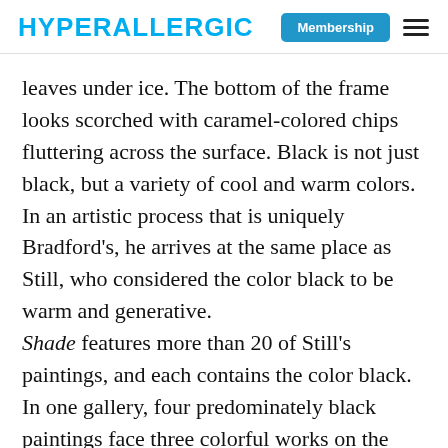HYPERALLERGIC | Membership
leaves under ice. The bottom of the frame looks scorched with caramel-colored chips fluttering across the surface. Black is not just black, but a variety of cool and warm colors. In an artistic process that is uniquely Bradford’s, he arrives at the same place as Still, who considered the color black to be warm and generative.
Shade features more than 20 of Still’s paintings, and each contains the color black. In one gallery, four predominately black paintings face three colorful works on the opposing wall. For example, “PH-90” (1948) has a tawny red,